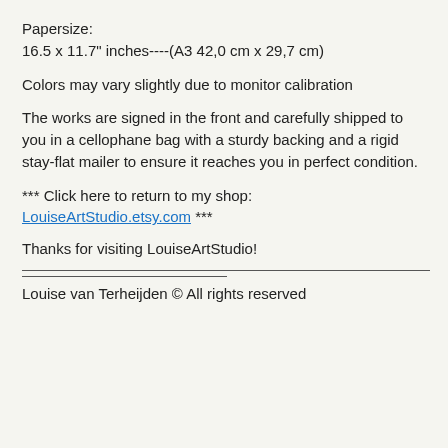Papersize:
16.5 x 11.7" inches----(A3 42,0 cm x 29,7 cm)
Colors may vary slightly due to monitor calibration
The works are signed in the front and carefully shipped to you in a cellophane bag with a sturdy backing and a rigid stay-flat mailer to ensure it reaches you in perfect condition.
*** Click here to return to my shop:
LouiseArtStudio.etsy.com ***
Thanks for visiting LouiseArtStudio!
Louise van Terheijden © All rights reserved